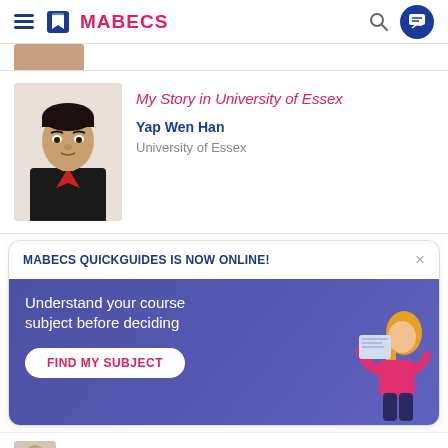MABECS
[Figure (photo): Partial photo of a person at the top, cropped]
My Story in University of Essex
Yap Wen Han
University of Essex
[Figure (photo): Headshot photo of Yap Wen Han in black blazer and red shirt]
MABECS QUICKGUIDES IS NOW ONLINE!
[Figure (illustration): Illustration of a person reading a book/document on purple background]
Understand your course subject before deciding
FIND MY SUBJECT
A new journey, a new experience.